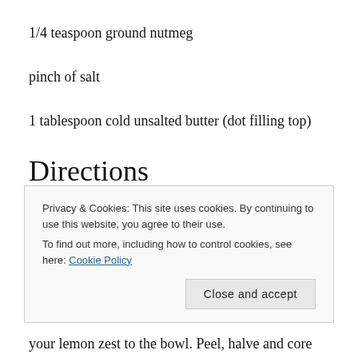1/4 teaspoon ground nutmeg
pinch of salt
1 tablespoon cold unsalted butter (dot filling top)
Directions
1. Prepare the pastry: Roll the pastry and line a 9-inch pie plate with the bottom crust. Roll out the remaining dough for the top crust. Chill the
Privacy & Cookies: This site uses cookies. By continuing to use this website, you agree to their use.
To find out more, including how to control cookies, see here: Cookie Policy
Close and accept
your lemon zest to the bowl. Peel, halve and core